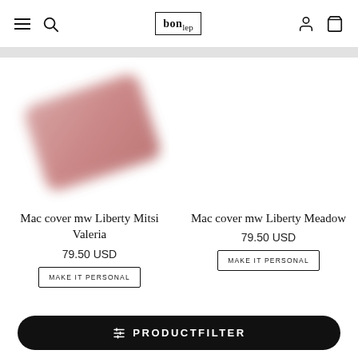bonlep navigation header with hamburger, search, logo, user and cart icons
[Figure (photo): Blurred pink/mauve Mac laptop cover shown at an angle, product photo for Mac cover mw Liberty Mitsi Valeria]
[Figure (photo): Empty product image area for Mac cover mw Liberty Meadow]
Mac cover mw Liberty Mitsi Valeria
Mac cover mw Liberty Meadow
79.50 USD
79.50 USD
MAKE IT PERSONAL
MAKE IT PERSONAL
PRODUCTFILTER